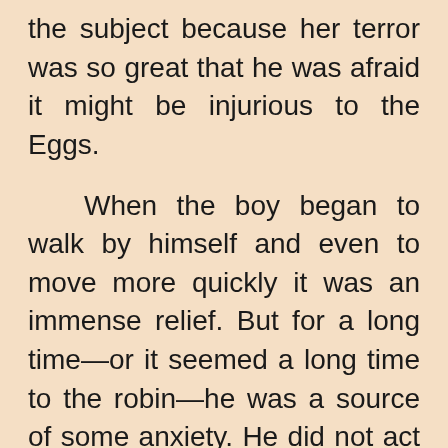the subject because her terror was so great that he was afraid it might be injurious to the Eggs.

When the boy began to walk by himself and even to move more quickly it was an immense relief. But for a long time—or it seemed a long time to the robin—he was a source of some anxiety. He did not act as the other humans did. He seemed very fond of walking but he had a